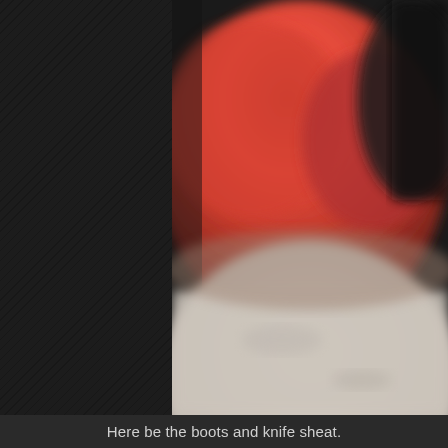[Figure (photo): A blurry photograph showing red objects (possibly boots and a knife sheath) in the upper portion against a dark background, with a light gray floor or surface in the lower portion. The left side of the page is a dark panel with a diagonal hatching texture.]
Here be the boots and knife sheat.